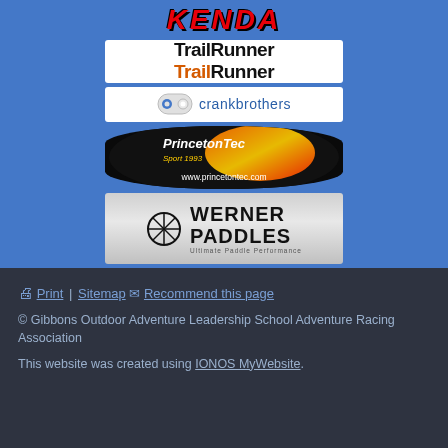[Figure (logo): KENDA logo in red italic bold text]
[Figure (logo): TrailRunner magazine logo with black and orange text stacked]
[Figure (logo): crankbrothers logo with ellipse icon in blue and grey]
[Figure (logo): PrincetonTec Sport 1993 helmet light logo with oval dark background and www.princetontec.com URL]
[Figure (logo): Werner Paddles - Ultimate Paddle Performance logo with silver gradient background]
🖨 Print | Sitemap ✉ Recommend this page
© Gibbons Outdoor Adventure Leadership School Adventure Racing Association

This website was created using IONOS MyWebsite.